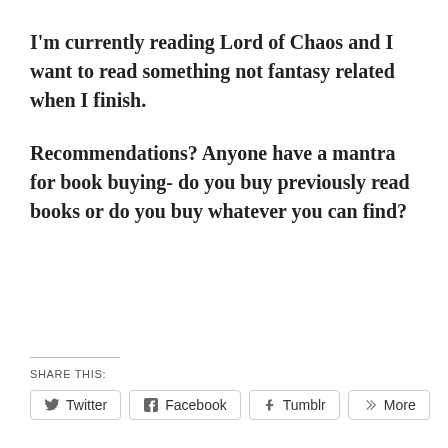I'm currently reading Lord of Chaos and I want to read something not fantasy related when I finish.
Recommendations? Anyone have a mantra for book buying- do you buy previously read books or do you buy whatever you can find?
Share this:
Twitter | Facebook | Tumblr | More